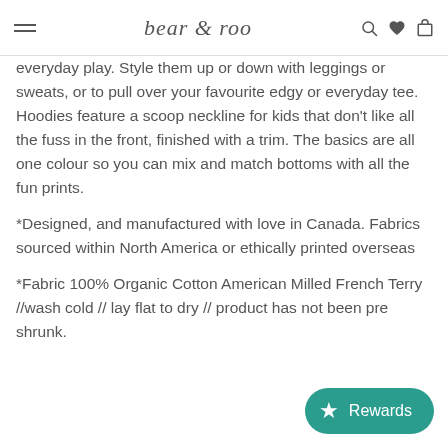bear & roo
everyday play. Style them up or down with leggings or sweats, or to pull over your favourite edgy or everyday tee. Hoodies feature a scoop neckline for kids that don’t like all the fuss in the front, finished with a trim. The basics are all one colour so you can mix and match bottoms with all the fun prints.
*Designed, and manufactured with love in Canada. Fabrics sourced within North America or ethically printed overseas
*Fabric 100% Organic Cotton American Milled French Terry //wash cold // lay flat to dry // product has not been pre shrunk.